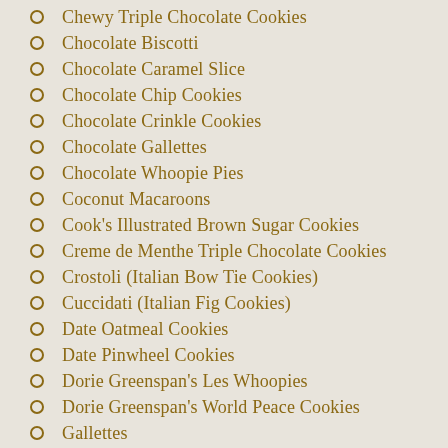Chewy Triple Chocolate Cookies
Chocolate Biscotti
Chocolate Caramel Slice
Chocolate Chip Cookies
Chocolate Crinkle Cookies
Chocolate Gallettes
Chocolate Whoopie Pies
Coconut Macaroons
Cook's Illustrated Brown Sugar Cookies
Creme de Menthe Triple Chocolate Cookies
Crostoli (Italian Bow Tie Cookies)
Cuccidati (Italian Fig Cookies)
Date Oatmeal Cookies
Date Pinwheel Cookies
Dorie Greenspan's Les Whoopies
Dorie Greenspan's World Peace Cookies
Gallettes
Grandma Betty Grace's Ultimate Sugar Cookie